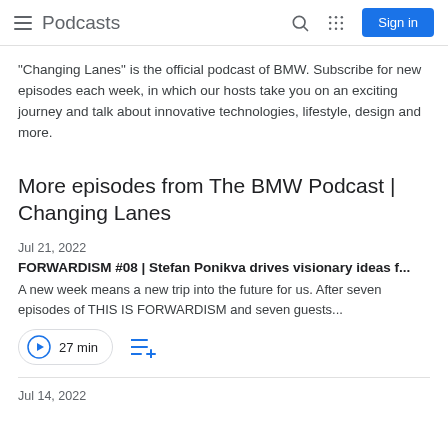Podcasts
"Changing Lanes" is the official podcast of BMW. Subscribe for new episodes each week, in which our hosts take you on an exciting journey and talk about innovative technologies, lifestyle, design and more.
More episodes from The BMW Podcast | Changing Lanes
Jul 21, 2022
FORWARDISM #08 | Stefan Ponikva drives visionary ideas f...
A new week means a new trip into the future for us. After seven episodes of THIS IS FORWARDISM and seven guests...
27 min
Jul 14, 2022